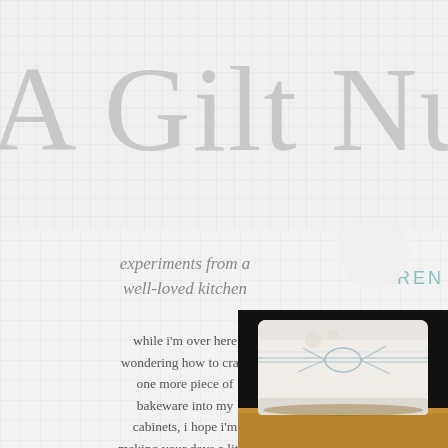A Gilt Nu
experiments from a well-loved kitchen
FREN
while i'm over here wondering how to cram one more piece of bakeware into my cabinets, i hope i'm making your days a little sweeter, a little more savory, and your kitchen a little more worn in as well...
[Figure (photo): Close-up photo of white soap or bakeware wrapped with thin wire/twine, sitting on a wooden surface]